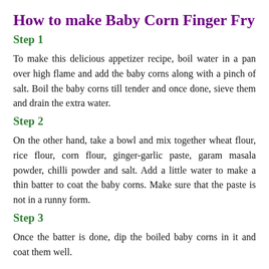How to make Baby Corn Finger Fry
Step 1
To make this delicious appetizer recipe, boil water in a pan over high flame and add the baby corns along with a pinch of salt. Boil the baby corns till tender and once done, sieve them and drain the extra water.
Step 2
On the other hand, take a bowl and mix together wheat flour, rice flour, corn flour, ginger-garlic paste, garam masala powder, chilli powder and salt. Add a little water to make a thin batter to coat the baby corns. Make sure that the paste is not in a runny form.
Step 3
Once the batter is done, dip the boiled baby corns in it and coat them well.